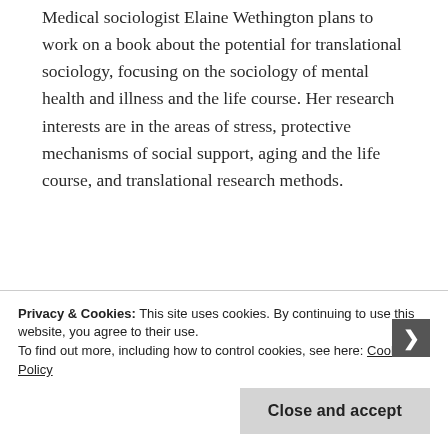Medical sociologist Elaine Wethington plans to work on a book about the potential for translational sociology, focusing on the sociology of mental health and illness and the life course. Her research interests are in the areas of stress, protective mechanisms of social support, aging and the life course, and translational research methods.
Privacy & Cookies: This site uses cookies. By continuing to use this website, you agree to their use. To find out more, including how to control cookies, see here: Cookie Policy
Close and accept